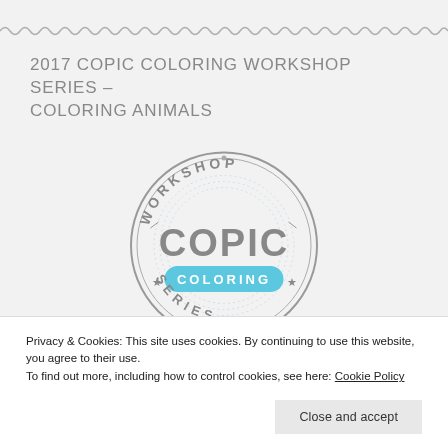[Figure (logo): Wavy/zigzag decorative border line across page]
2017 COPIC COLORING WORKSHOP SERIES – COLORING ANIMALS
[Figure (logo): Copic Coloring Workshop Series circular badge/stamp logo with 'WORKSHOP' at top arc, 'COPIC' large in center, 'COLORING' in teal rounded rectangle, 'SERIES' at bottom arc, stars on sides]
Privacy & Cookies: This site uses cookies. By continuing to use this website, you agree to their use.
To find out more, including how to control cookies, see here: Cookie Policy
Close and accept